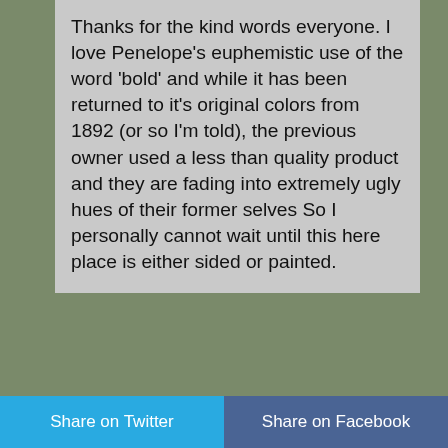Thanks for the kind words everyone. I love Penelope's euphemistic use of the word 'bold' and while it has been returned to it's original colors from 1892 (or so I'm told), the previous owner used a less than quality product and they are fading into extremely ugly hues of their former selves So I personally cannot wait until this here place is either sided or painted.
July 27, 2008 at 12:57 pm
Mercedes
I love the current colors! I like the new colors too!